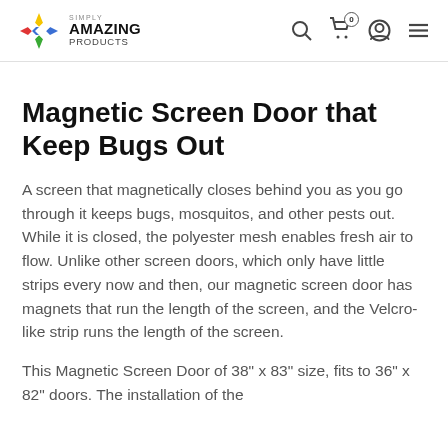Simply Amazing Products — navigation header with logo, search, cart, account, menu icons
Magnetic Screen Door that Keep Bugs Out
A screen that magnetically closes behind you as you go through it keeps bugs, mosquitos, and other pests out. While it is closed, the polyester mesh enables fresh air to flow. Unlike other screen doors, which only have little strips every now and then, our magnetic screen door has magnets that run the length of the screen, and the Velcro-like strip runs the length of the screen.
This Magnetic Screen Door of 38" x 83" size, fits to 36" x 82" doors. The installation of the